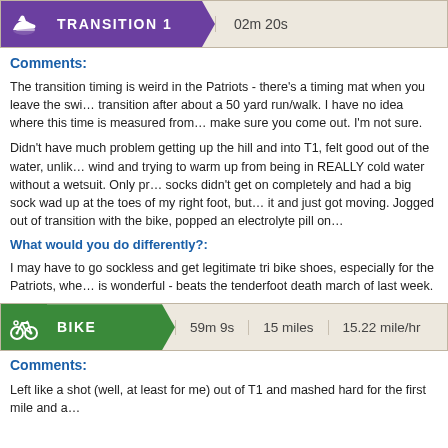TRANSITION 1   02m 20s
Comments:
The transition timing is weird in the Patriots - there's a timing mat when you leave the swim, and you don't hit the transition after about a 50 yard run/walk. I have no idea where this time is measured from or which gate they make sure you come out. I'm not sure.
Didn't have much problem getting up the hill and into T1, felt good out of the water, unlike last year when I was fighting wind and trying to warm up from being in REALLY cold water without a wetsuit. Only problem was my socks didn't get on completely and had a big sock wad up at the toes of my right foot, but I just dealt with it and just got moving. Jogged out of transition with the bike, popped an electrolyte pill on the way out.
What would you do differently?:
I may have to go sockless and get legitimate tri bike shoes, especially for the Patriots, where the run after is wonderful - beats the tenderfoot death march of last week.
BIKE   59m 9s   15 miles   15.22 mile/hr
Comments:
Left like a shot (well, at least for me) out of T1 and mashed hard for the first mile and a